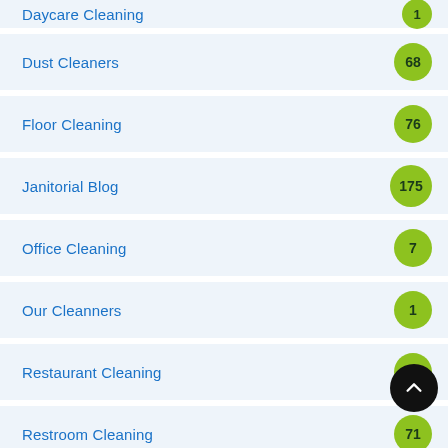Daycare Cleaning — 1
Dust Cleaners — 68
Floor Cleaning — 76
Janitorial Blog — 175
Office Cleaning — 7
Our Cleanners — 1
Restaurant Cleaning — 54
Restroom Cleaning — 71